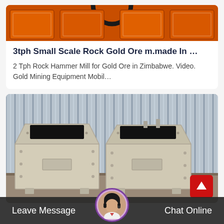[Figure (photo): Orange industrial rock crushing/hammer mill machines in a warehouse setting, viewed from above]
3tph Small Scale Rock Gold Ore m.made In …
2 Tph Rock Hammer Mill for Gold Ore in Zimbabwe. Video. Gold Mining Equipment Mobil…
[Figure (photo): Two large beige/cream colored industrial impact crusher machines on a factory floor with corrugated metal wall background]
Leave Message   Chat Online